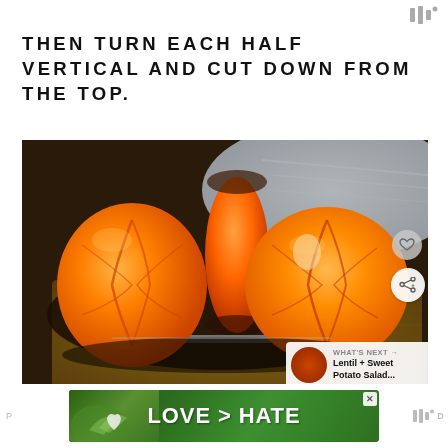THEN TURN EACH HALF VERTICAL AND CUT DOWN FROM THE TOP.
[Figure (photo): Photo of peeled tangerine/citrus fruit cut into halves and sections, placed on a dark cutting board with a knife visible. A 'What's Next' overlay shows a thumbnail for 'Lentil + Sweet Potato Salad...' A heart/like button and a share button are visible on the right side.]
[Figure (photo): Advertisement banner showing hands forming a heart shape with text 'LOVE > HATE' on a green/nature background with a close button.]